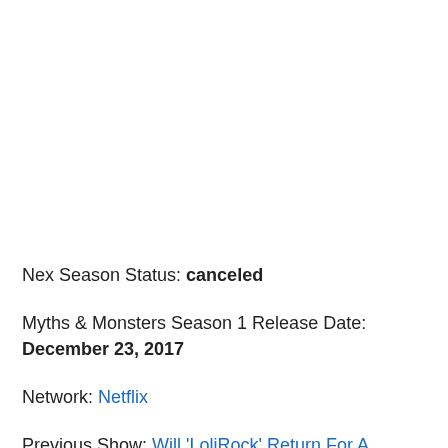Nex Season Status: canceled
Myths & Monsters Season 1 Release Date: December 23, 2017
Network: Netflix
Previous Show: Will 'LoliRock' Return For A Season 3 on France 3?